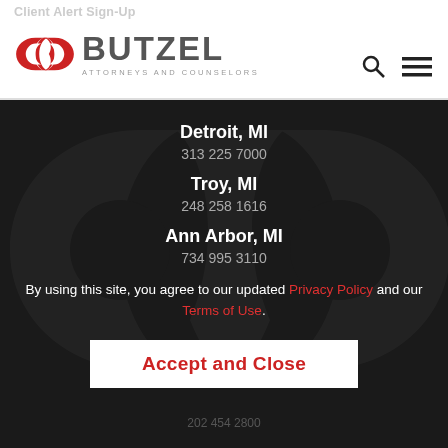Client Alert Sign-Up
[Figure (logo): Butzel Long logo — red infinity/chain-link icon with BUTZEL text and ATTORNEYS AND COUNSELORS subtitle]
Detroit, MI
313 225 7000
Troy, MI
248 258 1616
Ann Arbor, MI
734 995 3110
By using this site, you agree to our updated Privacy Policy and our Terms of Use.
Accept and Close